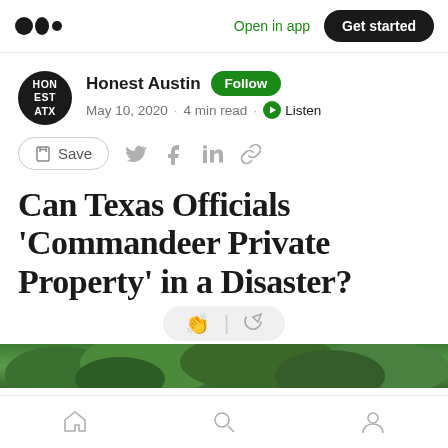Open in app  Get started
Honest Austin  Follow
May 10, 2020 · 4 min read · Listen
Save
Can Texas Officials 'Commandeer Private Property' in a Disaster?
[Figure (photo): Green trees/foliage at bottom of article]
Home  Search  Profile